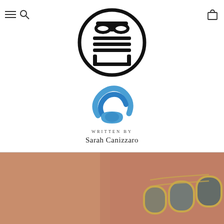[Figure (logo): Japanese seal/chop circular logo with black circular border and stylized Japanese kanji characters inside]
[Figure (logo): Blue concentric circular power/flow symbol logo in blue tones]
WRITTEN BY
Sarah Canizzaro
[Figure (photo): Close-up photo of a person's neck/shoulder wearing a gold-chain necklace with dark oval stones set in gold bezels, warm skin-tone background]